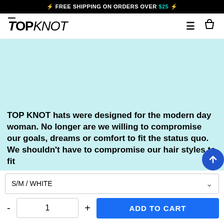⚡ FREE SHIPPING ON ORDERS OVER $25 ⚡
TOPKNOT
[Figure (photo): Light teal/cyan product image area (hat photo placeholder)]
TOP KNOT hats were designed for the modern day woman. No longer are we willing to compromise our goals, dreams or comfort to fit the status quo. We shouldn't have to compromise our hair styles to fit
S/M / WHITE
1
ADD TO CART